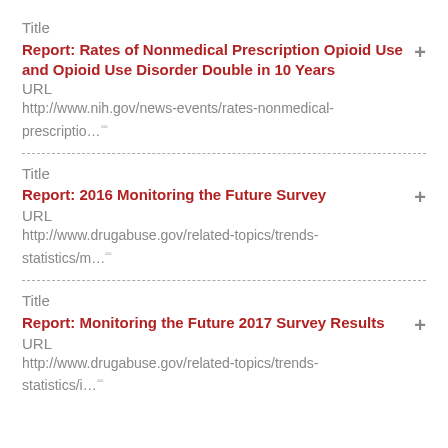Title
Report: Rates of Nonmedical Prescription Opioid Use and Opioid Use Disorder Double in 10 Years
URL
http://www.nih.gov/news-events/rates-nonmedical-prescriptio…
Title
Report: 2016 Monitoring the Future Survey
URL
http://www.drugabuse.gov/related-topics/trends-statistics/m…
Title
Report: Monitoring the Future 2017 Survey Results
URL
http://www.drugabuse.gov/related-topics/trends-statistics/i…